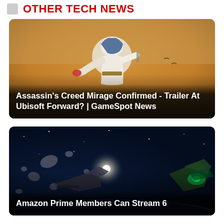OTHER TECH NEWS
[Figure (photo): Assassin's Creed Mirage character in white hood pointing, desert background with birds, game promotional image]
Assassin's Creed Mirage Confirmed - Trailer At Ubisoft Forward? | GameSpot News
[Figure (photo): Space scene with asteroids and a spacecraft near Earth, game promotional image]
Amazon Prime Members Can Stream 6